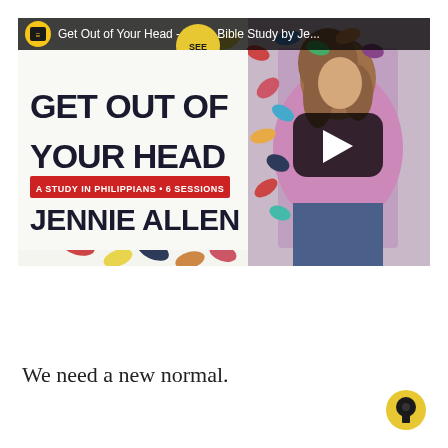[Figure (screenshot): YouTube video thumbnail for 'Get Out of Your Head - Video Bible Study by Jennie Allen'. Shows the book cover with colorful dots/ovals pattern on white background on the left side with bold text 'GET OUT OF YOUR HEAD', a red banner reading 'A STUDY IN PHILIPPIANS • 6 SESSIONS', and 'JENNIE ALLEN' below. A YouTube play button overlay in the center. On the right, a woman with long brown hair wearing a pink top and jeans standing in an indoor setting. At the top, the YouTube player bar shows the video title. A yellow book cover circle appears top-center with 'SEE' text.]
We need a new normal.